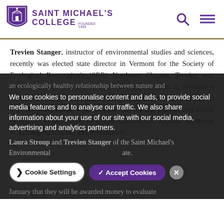[Figure (logo): Saint Michael's College shield logo with purple and white colors, founded 1904]
SAINT MICHAEL'S COLLEGE FOUNDED 1904
Trevien Stanger, instructor of environmental studies and sciences, recently was elected state director in Vermont for the Society of Ecological Restoration's (SER) Northeast Chapter. Trevien was elected in large part due to his active participation in restoration efforts in the Saint Michael's College Natural Area and throughout the Champlain Basin. SER advances the science, practice and policy of ecological restoration to sustain biodiversity, improve resilience in a changing climate, and re-establish an ecologically healthy relationship between nature and
We use cookies to personalise content and ads, to provide social media features and to analyse our traffic. We also share information about your use of our site with our social media, advertising and analytics partners.
Laura Stroup and Trevien Stanger of the Saint Michael's Environmental
January that they will be awarded money to evaluate